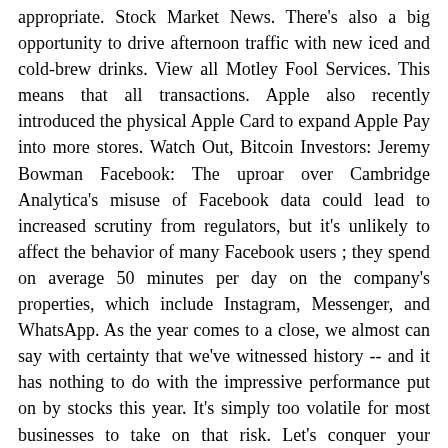appropriate. Stock Market News. There's also a big opportunity to drive afternoon traffic with new iced and cold-brew drinks. View all Motley Fool Services. This means that all transactions. Apple also recently introduced the physical Apple Card to expand Apple Pay into more stores. Watch Out, Bitcoin Investors: Jeremy Bowman Facebook: The uproar over Cambridge Analytica's misuse of Facebook data could lead to increased scrutiny from regulators, but it's unlikely to affect the behavior of many Facebook users ; they spend on average 50 minutes per day on the company's properties, which include Instagram, Messenger, and WhatsApp. As the year comes to a close, we almost can say with certainty that we've witnessed history -- and it has nothing to do with the impressive performance put on by stocks this year. It's simply too volatile for most businesses to take on that risk. Let's conquer your financial goals together Demitri covers consumer goods and media companies for Fool.
An oversold stock with a huge moat
Read More. Since bitcoin is a "universal currency," it would seem to make sense to store the money in bitcoin until I leave. The IRS confirmed that thinking by noting that it also wasn't interested in information about those who only bought and held bitcoin during the period, given that there would be no tax liability for buy-and-hold cryptocurrency investors under the IRS standards for taxing